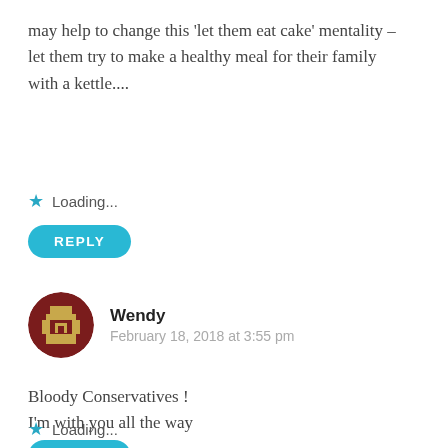may help to change this 'let them eat cake' mentality – let them try to make a healthy meal for their family with a kettle....
Loading...
REPLY
Wendy
February 18, 2018 at 3:55 pm
Bloody Conservatives !
I'm with you all the way
Loading...
REPLY